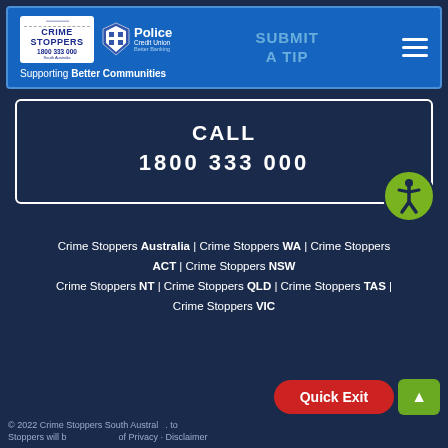[Figure (logo): Crime Stoppers South Australia and Police Credit Union logos with Supporting Better Communities tagline]
SUBMIT A TIP
CALL
1800 333 000
Crime Stoppers Australia | Crime Stoppers WA | Crime Stoppers ACT | Crime Stoppers NSW
Crime Stoppers NT | Crime Stoppers QLD | Crime Stoppers TAS |
Crime Stoppers VIC
Quick Exit
© 2022 Crime Stoppers South Australia . to . Stoppers will be on the use of . Privacy . Disclaimer